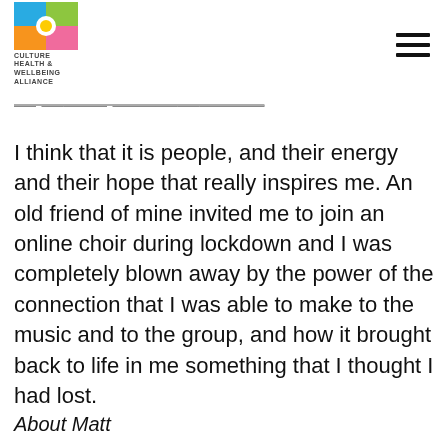Culture Health & Wellbeing Alliance
— that inspired you—
I think that it is people, and their energy and their hope that really inspires me. An old friend of mine invited me to join an online choir during lockdown and I was completely blown away by the power of the connection that I was able to make to the music and to the group, and how it brought back to life in me something that I thought I had lost.
About Matt